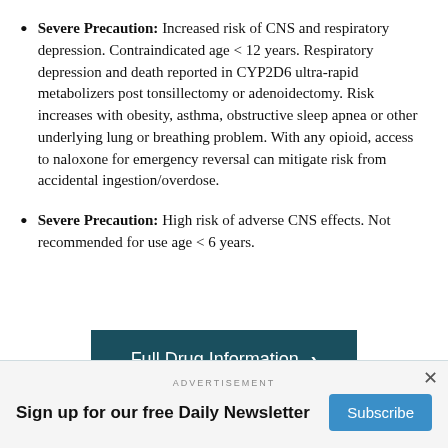Severe Precaution: Increased risk of CNS and respiratory depression. Contraindicated age < 12 years. Respiratory depression and death reported in CYP2D6 ultra-rapid metabolizers post tonsillectomy or adenoidectomy. Risk increases with obesity, asthma, obstructive sleep apnea or other underlying lung or breathing problem. With any opioid, access to naloxone for emergency reversal can mitigate risk from accidental ingestion/overdose.
Severe Precaution: High risk of adverse CNS effects. Not recommended for use age < 6 years.
[Figure (other): Button labeled 'Full Drug Information' with a right-pointing chevron, dark teal background]
ADVERTISEMENT Sign up for our free Daily Newsletter Subscribe